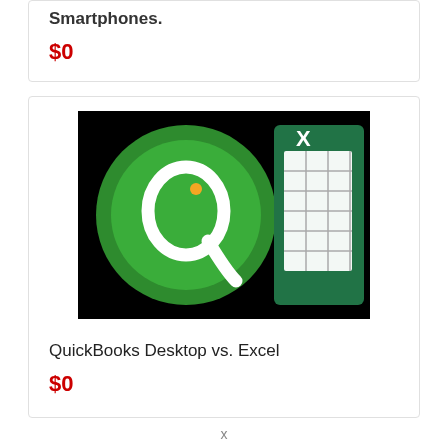Smartphones.
$0
[Figure (logo): QuickBooks logo (green circle with white stylized Q) next to Microsoft Excel logo (green X with grid icon) on black background]
QuickBooks Desktop vs. Excel
$0